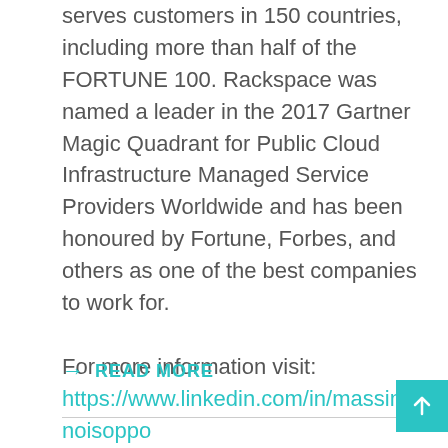serves customers in 150 countries, including more than half of the FORTUNE 100. Rackspace was named a leader in the 2017 Gartner Magic Quadrant for Public Cloud Infrastructure Managed Service Providers Worldwide and has been honoured by Fortune, Forbes, and others as one of the best companies to work for.
For more information visit:
https://www.linkedin.com/in/massimilianoisoppo activity/posts/
→  READ MORE